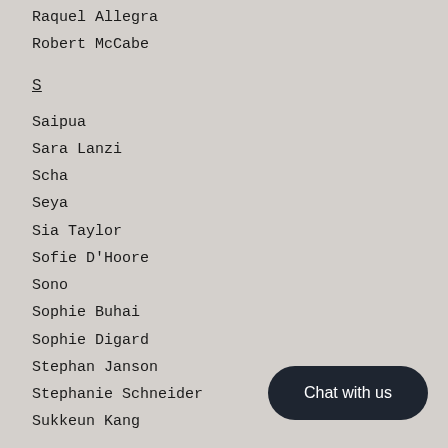Raquel Allegra
Robert McCabe
S
Saipua
Sara Lanzi
Scha
Seya
Sia Taylor
Sofie D'Hoore
Sono
Sophie Buhai
Sophie Digard
Stephan Janson
Stephanie Schneider
Sukkeun Kang
Chat with us